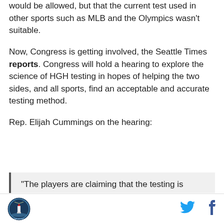would be allowed, but that the current test used in other sports such as MLB and the Olympics wasn't suitable.
Now, Congress is getting involved, the Seattle Times reports. Congress will hold a hearing to explore the science of HGH testing in hopes of helping the two sides, and all sports, find an acceptable and accurate testing method.
Rep. Elijah Cummings on the hearing:
"The players are claiming that the testing is questionable. What's bothering me about all of this is that the players made an agreement in 2011 ... that they would begin the human growth hormone
[Figure (logo): SB Nation circular logo with lighthouse/city skyline graphic]